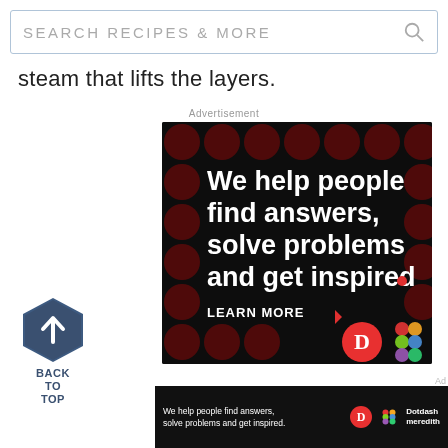SEARCH RECIPES & MORE
steam that lifts the layers.
Advertisement
[Figure (other): Advertisement banner for Dotdash Meredith on dark background with red polka dots pattern. Text reads: 'We help people find answers, solve problems and get inspired.' with 'LEARN MORE' call to action and Dotdash logo.]
[Figure (other): Back to top button — dark blue hexagon with upward arrow, labeled BACK TO TOP]
[Figure (other): Bottom banner advertisement for Dotdash Meredith — dark background with text 'We help people find answers, solve problems and get inspired.' and Dotdash Meredith logos]
Ad